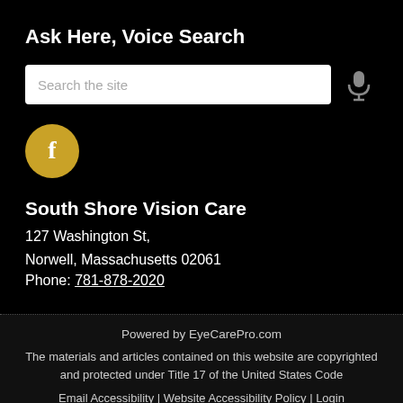Ask Here, Voice Search
[Figure (screenshot): Search input box with placeholder text 'Search the site' and a microphone icon to the right]
[Figure (logo): Facebook icon in a gold/yellow circle]
South Shore Vision Care
127 Washington St,
Norwell, Massachusetts 02061
Phone: 781-878-2020
Powered by EyeCarePro.com
The materials and articles contained on this website are copyrighted and protected under Title 17 of the United States Code
Email Accessibility | Website Accessibility Policy | Login